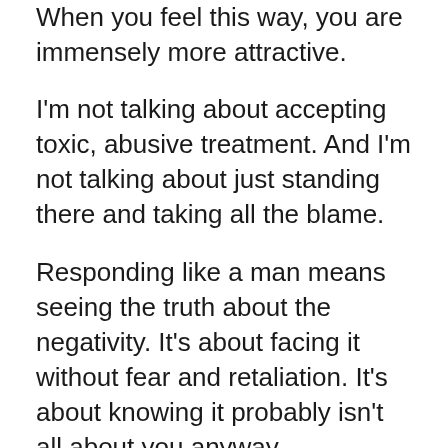When you feel this way, you are immensely more attractive.
I'm not talking about accepting toxic, abusive treatment. And I'm not talking about just standing there and taking all the blame.
Responding like a man means seeing the truth about the negativity. It's about facing it without fear and retaliation. It's about knowing it probably isn't all about you anyway.
A mature, masculine response includes calm curiosity. A willingness to listen and discuss. A decision to not argue...even if that's where she's trying to take you.
Her complaint may have some validity and